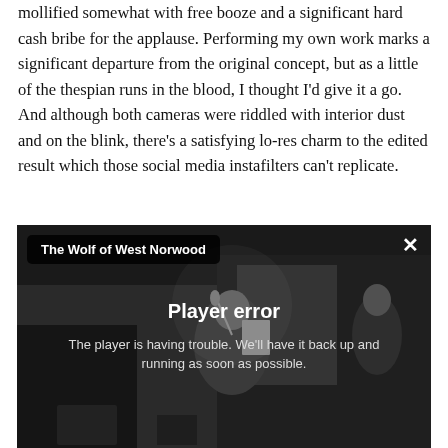mollified somewhat with free booze and a significant hard cash bribe for the applause. Performing my own work marks a significant departure from the original concept, but as a little of the thespian runs in the blood, I thought I'd give it a go. And although both cameras were riddled with interior dust and on the blink, there's a satisfying lo-res charm to the edited result which those social media instafilters can't replicate.
[Figure (screenshot): Embedded video player showing a grayscale image of a person performing at a microphone with sheet music, overlaid with a 'Player error' message. Title overlay reads 'The Wolf of West Norwood'. Error text: 'The player is having trouble. We'll have it back up and running as soon as possible.']